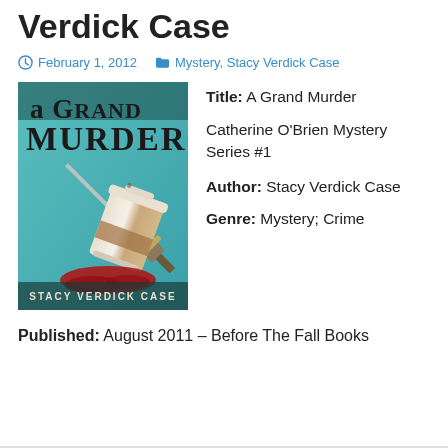Verdick Case
February 1, 2012   Mystery, Stacy Verdick Case
[Figure (illustration): Book cover for 'A Grand Murder' by Stacy Verdick Case. Teal/blue background with stylized text 'A Grand Murder' and an illustration of a coffee cup knocked over with a sword and blood spatter. Author name 'Stacy Verdick Case' at the bottom.]
Title:  A Grand Murder
Catherine O'Brien Mystery Series #1
Author:  Stacy Verdick Case
Genre:  Mystery; Crime
Published:  August 2011 – Before The Fall Books